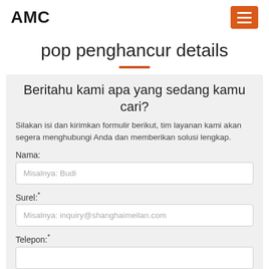AMC
pop penghancur details
Beritahu kami apa yang sedang kamu cari?
Silakan isi dan kirimkan formulir berikut, tim layanan kami akan segera menghubungi Anda dan memberikan solusi lengkap.
Nama:
Misalnya: Budi
Surel:*
Misalnya: inquiry@shanghaimeilan.com
Telepon:*